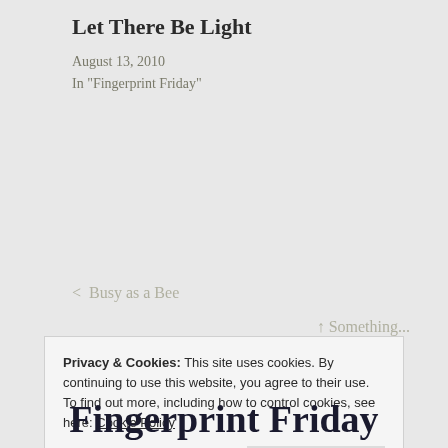Let There Be Light
August 13, 2010
In "Fingerprint Friday"
< Busy as a Bee
Privacy & Cookies: This site uses cookies. By continuing to use this website, you agree to their use.
To find out more, including how to control cookies, see here: Cookie Policy
Close and accept
Fingerprint Friday